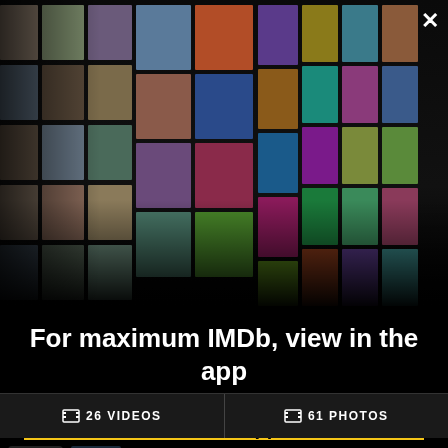[Figure (photo): IMDb app promotional hero image showing a collage of celebrity photos and movie posters arranged in a grid perspective layout on a dark background with an X close button in the top right corner]
For maximum IMDb, view in the app
Get the app
26 VIDEOS
61 PHOTOS
Action
Drama
History